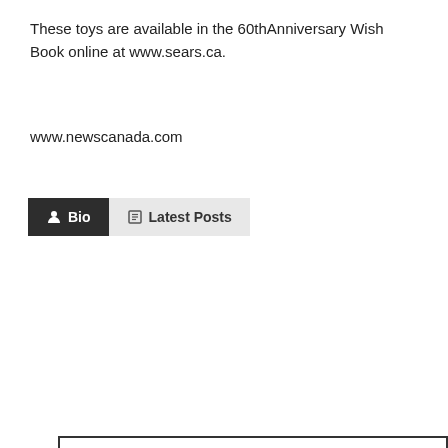These toys are available in the 60thAnniversary Wish Book online at www.sears.ca.
www.newscanada.com
[Figure (infographic): Bio and Latest Posts tab bar with a profile card below. The Bio tab is dark/black and active. The Latest Posts tab is light gray. Inside the card: a gray avatar placeholder on the left with social media icons (Twitter, Facebook, Instagram, Pinterest) below it. On the right: the title 'Canadian Home Trends' in blue bold text, followed by a paragraph describing the magazine.]
Canadian Home Trends
Canadian Home Trends magazine gives you a personal tour of the most stunning homes and condos across Canada. You'll be inspired by a selection of accessible home décor products, trend reports, simple yet stylish DIY projects, and much more. In each issue, you are given the tools to recreate designer spaces you've always dreamt of having at home, in-depth renovation and design advice, colour palette and furniture pairings, and Canada's best places to shop.